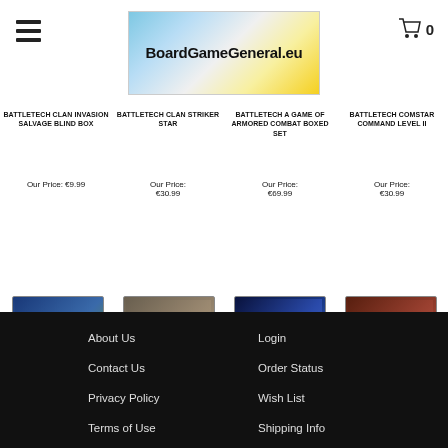BoardGameGeneral.eu
BATTLETECH CLAN INVASION SALVAGE BLIND BOX
Our Price: €9.99
BATTLETECH CLAN STRIKER STAR
Our Price: €30.99
BATTLETECH A GAME OF ARMORED COMBAT BOXED SET
Our Price: €69.99
BATTLETECH COMSTAR COMMAND LEVEL II
Our Price: €30.99
[Figure (photo): Battletech Clan Invasion Salvage Blind Box product image]
[Figure (photo): Battletech Clan Striker Star product image]
[Figure (photo): Battletech A Game of Armored Combat Boxed Set product image]
[Figure (photo): Battletech Comstar Command Level II product image]
About Us  Login  Contact Us  Order Status  Privacy Policy  Wish List  Terms of Use  Shipping Info